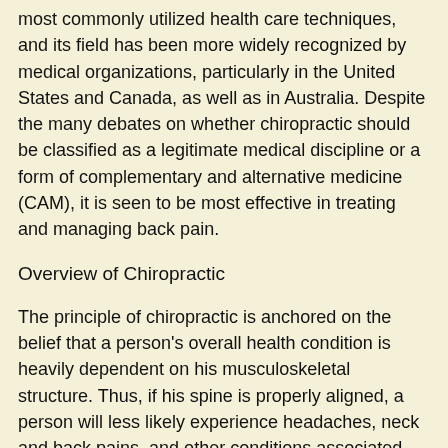most commonly utilized health care techniques, and its field has been more widely recognized by medical organizations, particularly in the United States and Canada, as well as in Australia. Despite the many debates on whether chiropractic should be classified as a legitimate medical discipline or a form of complementary and alternative medicine (CAM), it is seen to be most effective in treating and managing back pain.
Overview of Chiropractic
The principle of chiropractic is anchored on the belief that a person's overall health condition is heavily dependent on his musculoskeletal structure. Thus, if his spine is properly aligned, a person will less likely experience headaches, neck and back pains, and other conditions associated with his musculoskeletal system. Chiropractors, then, advocate the use of noninvasive and nonsurgical techniques in dealing with said conditions. Instead of resorting to expensive, and sometimes traumatic, medical "under-the-knife" procedures, chiropractors employ manual and hands-on adjustment and manipulation of the spine, as well as certain joints and soft